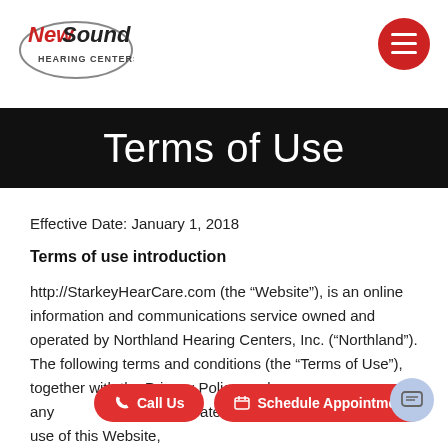NewSound Hearing Centers logo and menu button
Terms of Use
Effective Date: January 1, 2018
Terms of use introduction
http://StarkeyHearCare.com (the “Website”), is an online information and communications service owned and operated by Northland Hearing Centers, Inc. (“Northland”). The following terms and conditions (the “Terms of Use”), together with the Privacy Policy, and any documents they incorporate, govern your access to and use of this Website,